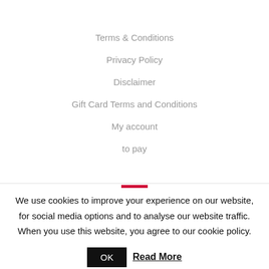Terms & Conditions
Privacy Policy
Disclaimer
Gift Card Terms and Conditions
My account
to pay
We use cookies to improve your experience on our website, for social media options and to analyse our website traffic. When you use this website, you agree to our cookie policy. OK Read More